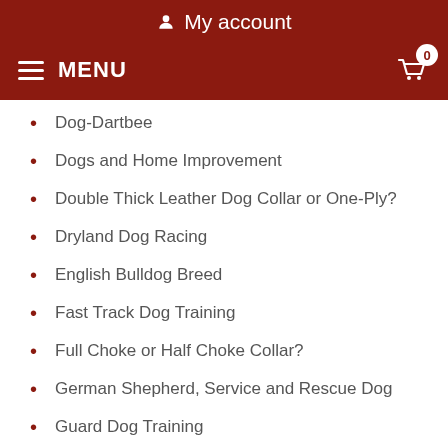My account
MENU
Dog-Dartbee
Dogs and Home Improvement
Double Thick Leather Dog Collar or One-Ply?
Dryland Dog Racing
English Bulldog Breed
Fast Track Dog Training
Full Choke or Half Choke Collar?
German Shepherd, Service and Rescue Dog
Guard Dog Training
Guide Dogs Training
Hardware for Dog Harness
Herm Sprenger Dog Collar or Alternative?